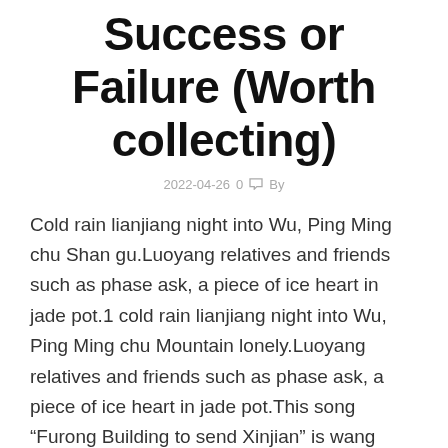Success or Failure (Worth collecting)
2022-04-26  0  By
Cold rain lianjiang night into Wu, Ping Ming chu Shan gu.Luoyang relatives and friends such as phase ask, a piece of ice heart in jade pot.1 cold rain lianjiang night into Wu, Ping Ming chu Mountain lonely.Luoyang relatives and friends such as phase ask, a piece of ice heart in jade pot.This song “Furong Building to send Xinjian” is wang Changling’s most handed down poems, “a piece of ice heart in jade pot” is everyone familiar with the famous sentence.The famous “Furong Building to send Xin Jian 2” was written on the day when Wang Changling took office in Jiangning City. At that time, he was criticized and saw off his friend on a long trip.Parting advice, but with jade pot ice